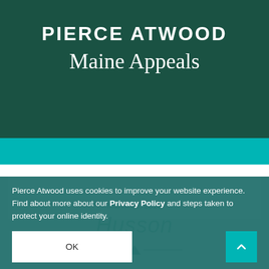PIERCE ATWOOD
Maine Appeals
Pierce Atwood uses cookies to improve your website experience. Find about more about our Privacy Policy and steps taken to protect your online identity.